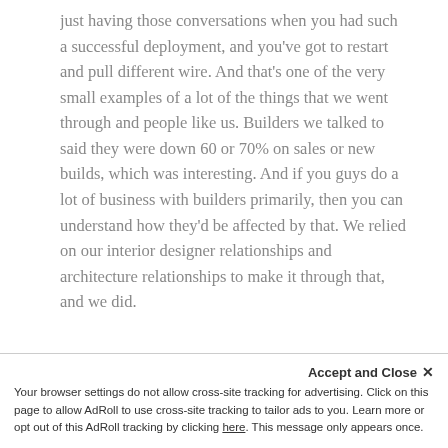just having those conversations when you had such a successful deployment, and you've got to restart and pull different wire. And that's one of the very small examples of a lot of the things that we went through and people like us. Builders we talked to said they were down 60 or 70% on sales or new builds, which was interesting. And if you guys do a lot of business with builders primarily, then you can understand how they'd be affected by that. We relied on our interior designer relationships and architecture relationships to make it through that, and we did.
Ron: How is the Houston market doing now? Is it fully bounced back? There's the silver lining and
Accept and Close ✕
Your browser settings do not allow cross-site tracking for advertising. Click on this page to allow AdRoll to use cross-site tracking to tailor ads to you. Learn more or opt out of this AdRoll tracking by clicking here. This message only appears once.